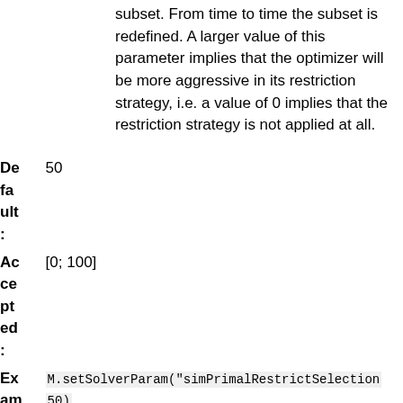subset. From time to time the subset is redefined. A larger value of this parameter implies that the optimizer will be more aggressive in its restriction strategy, i.e. a value of 0 implies that the restriction strategy is not applied at all.
| Label | Value |
| --- | --- |
| Default: | 50 |
| Accepted: | [0; 100] |
| Example: | M.setSolverParam("simPrimalRestrictSelection", 50) |
| Generic name: | MSK_IPAR_SIM_PRIMAL_RESTRICT_SELECTION |